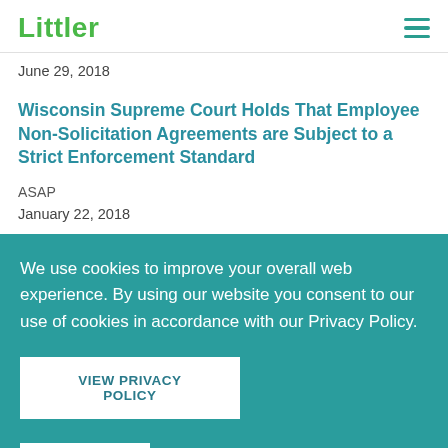Littler
June 29, 2018
Wisconsin Supreme Court Holds That Employee Non-Solicitation Agreements are Subject to a Strict Enforcement Standard
ASAP
January 22, 2018
We use cookies to improve your overall web experience. By using our website you consent to our use of cookies in accordance with our Privacy Policy.
VIEW PRIVACY POLICY
I AGREE